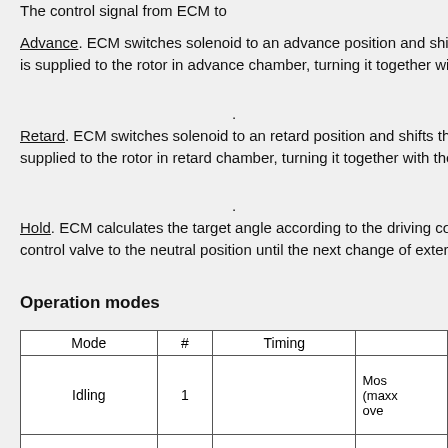The control signal from ECM to
Advance. ECM switches solenoid to an advance position and shifts the control valve. Oil is supplied to the rotor in advance chamber, turning it together with the camshaft.
.
Retard. ECM switches solenoid to an retard position and shifts the control valve. Oil is supplied to the rotor in retard chamber, turning it together with the camshaft.
.
Hold. ECM calculates the target angle according to the driving conditions and switches the control valve to the neutral position until the next change of external conditions.
Operation modes
| Mode | # | Timing |  |
| --- | --- | --- | --- |
| Idling | 1 |  | Mos
(maxx
ove |
| Low load | 2 |  | M
exha |
| Medium load | 3 |  | Va |